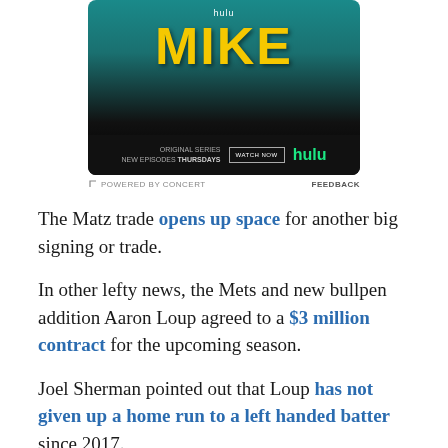[Figure (advertisement): Hulu advertisement for 'MIKE' original series. Shows a dark background with large yellow 'MIKE' text, 'hulu' text at top, and bottom bar with 'ORIGINAL SERIES NEW EPISODES THURSDAYS', 'WATCH NOW' button, and green 'hulu' logo.]
POWERED BY CONCERT   FEEDBACK
The Matz trade opens up space for another big signing or trade.
In other lefty news, the Mets and new bullpen addition Aaron Loup agreed to a $3 million contract for the upcoming season.
Joel Sherman pointed out that Loup has not given up a home run to a left handed batter since 2017.
Jon Heyman broke down the Mets contract offer to